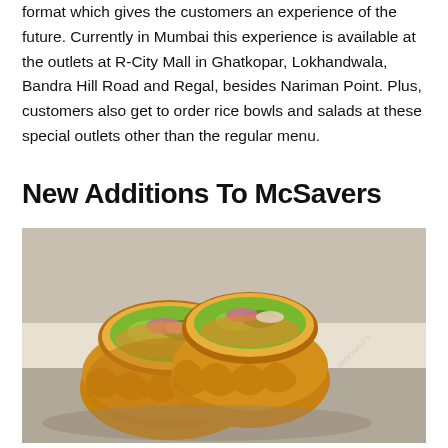format which gives the customers an experience of the future. Currently in Mumbai this experience is available at the outlets at R-City Mall in Ghatkopar, Lokhandwala, Bandra Hill Road and Regal, besides Nariman Point. Plus, customers also get to order rice bowls and salads at these special outlets other than the regular menu.
New Additions To McSavers
[Figure (photo): Photo of two McDonald's McSavers wraps/rolls cut in half showing filling with vegetables and sauce, placed on branded McDonald's paper/wrapper]